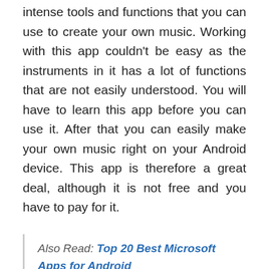intense tools and functions that you can use to create your own music. Working with this app couldn't be easy as the instruments in it has a lot of functions that are not easily understood. You will have to learn this app before you can use it. After that you can easily make your own music right on your Android device. This app is therefore a great deal, although it is not free and you have to pay for it.
Also Read: Top 20 Best Microsoft Apps for Android
#2 Musixmatch